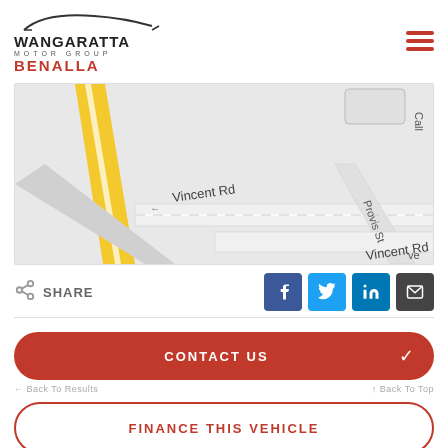[Figure (logo): Wangaratta Motor Group Benalla logo with car silhouette]
[Figure (map): Google Maps view showing Vincent Rd and Provis St intersection area]
SHARE
[Figure (infographic): Social share icons: Facebook, Twitter, LinkedIn, Email]
CONTACT US
FINANCE THIS VEHICLE